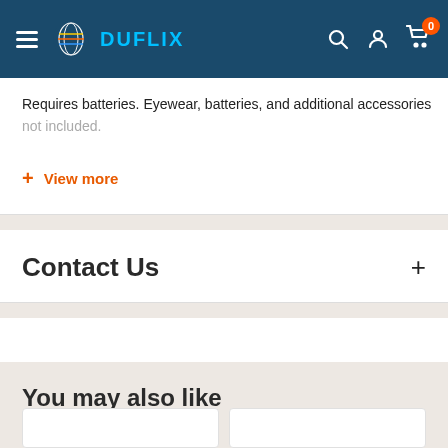DUFLIX
Requires batteries. Eyewear, batteries, and additional accessories not included.
+ View more
Contact Us
You may also like